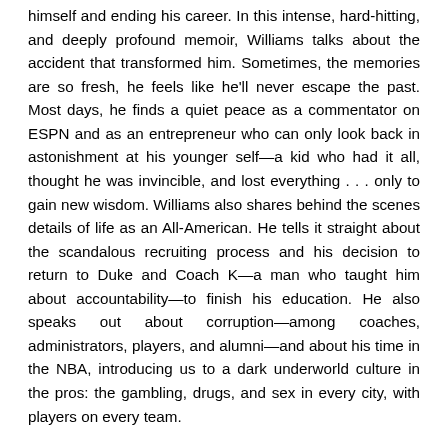himself and ending his career. In this intense, hard-hitting, and deeply profound memoir, Williams talks about the accident that transformed him. Sometimes, the memories are so fresh, he feels like he'll never escape the past. Most days, he finds a quiet peace as a commentator on ESPN and as an entrepreneur who can only look back in astonishment at his younger self—a kid who had it all, thought he was invincible, and lost everything . . . only to gain new wisdom. Williams also shares behind the scenes details of life as an All-American. He tells it straight about the scandalous recruiting process and his decision to return to Duke and Coach K—a man who taught him about accountability—to finish his education. He also speaks out about corruption—among coaches, administrators, players, and alumni—and about his time in the NBA, introducing us to a dark underworld culture in the pros: the gambling, drugs, and sex in every city, with players on every team.